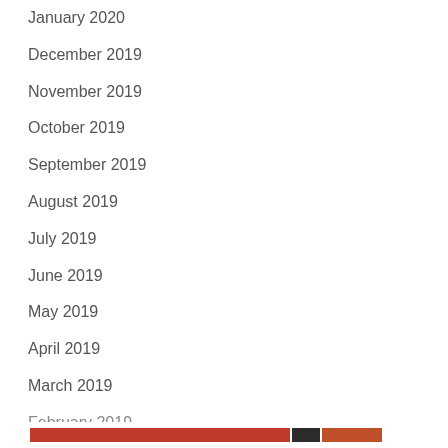January 2020
December 2019
November 2019
October 2019
September 2019
August 2019
July 2019
June 2019
May 2019
April 2019
March 2019
February 2019
Privacy & Cookies: This site uses cookies. By continuing to use this website, you agree to their use. To find out more, including how to control cookies, see here: Cookie Policy
[Figure (other): Bottom navigation bar with red, black, and orange colored segments]